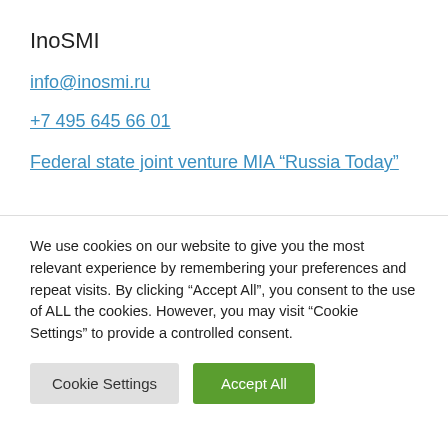InoSMI
info@inosmi.ru
+7 495 645 66 01
Federal state joint venture MIA “Russia Today”
We use cookies on our website to give you the most relevant experience by remembering your preferences and repeat visits. By clicking “Accept All”, you consent to the use of ALL the cookies. However, you may visit "Cookie Settings" to provide a controlled consent.